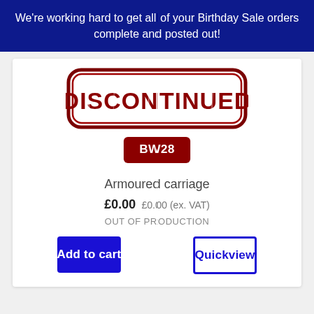We're working hard to get all of your Birthday Sale orders complete and posted out!
[Figure (illustration): DISCONTINUED stamp graphic — red text on white with dark red rounded rectangle border, distressed/grunge style]
BW28
Armoured carriage
£0.00 £0.00 (ex. VAT)
OUT OF PRODUCTION
Add to cart
Quickview